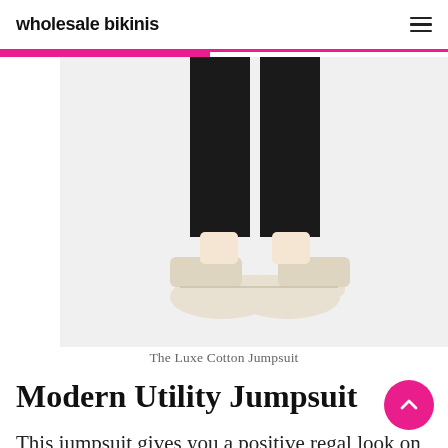wholesale bikinis
[Figure (photo): Lower portion of a model wearing a black wide-leg jumpsuit with cream/white slip-on sneakers, posed against a white background. Cropped at mid-thigh level.]
The Luxe Cotton Jumpsuit
Modern Utility Jumpsuit
This jumpsuit gives you a positive regal look on any wedding occasion. The jumpsuit has an elegant double-V-neckline neck. The jumpsuit is light and wrinkle resistant. The brand comes in blue, olive, and black colors. The suit is availab… despite the Markle effect. Do not hesitate, this is